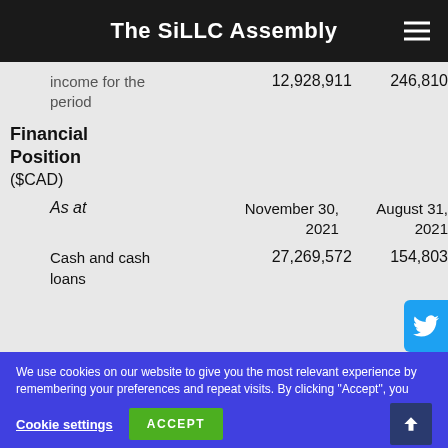The SiLLC Assembly
|  | November 30, 2021 | August 31, 2021 |
| --- | --- | --- |
| Income for the period | 12,928,911 | 246,810 |
| Financial Position ($CAD) |  |  |
| As at | November 30, 2021 | August 31, 2021 |
| Cash and cash loans | 27,269,572 | 154,803 |
We use cookies on our website to give you the most relevant experience by remembering your preferences and repeat visits. By clicking “Accept”, you consent to the use of ALL the cookies. Do not sell my personal information.
Cookie settings  ACCEPT